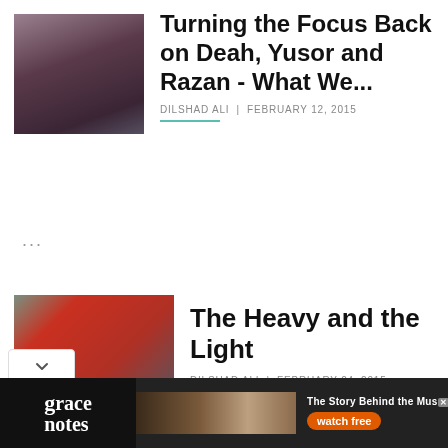[Figure (photo): Thumbnail image for article, blurry indoor photo]
Turning the Focus Back on Deah, Yusor and Razan - What We...
DILSHAD ALI | FEBRUARY 12, 2015
...
[Figure (photo): Person sitting on couch with legs crossed and hands on lap]
The Heavy and the Light
DILSHAD ALI | FEBRUARY 04, 2015
[Figure (other): Grace Notes advertisement banner with watch free button and BYU tv logo]